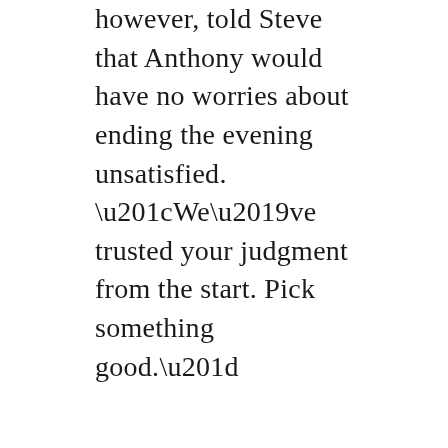however, told Steve that Anthony would have no worries about ending the evening unsatisfied. “We’ve trusted your judgment from the start. Pick something good.”